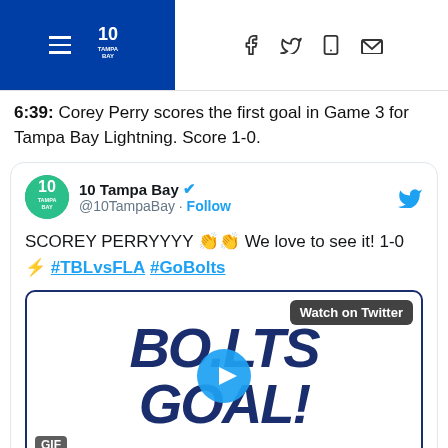10 Tampa Bay
6:39: Corey Perry scores the first goal in Game 3 for Tampa Bay Lightning. Score 1-0.
[Figure (screenshot): Embedded tweet from @10TampaBay reading: SCOREY PERRYYYY 👏👏 We love to see it! 1-0 ⚡ #TBLvsFLA #GoBolts, with a video thumbnail showing BOLTS GOAL! text and a play button.]